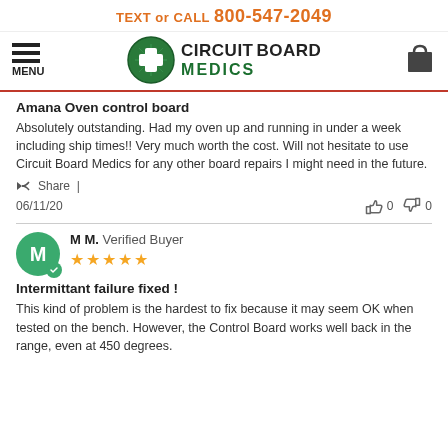TEXT or CALL 800-547-2049
[Figure (logo): Circuit Board Medics logo with green circuit board cross icon and company name]
Amana Oven control board
Absolutely outstanding. Had my oven up and running in under a week including ship times!! Very much worth the cost. Will not hesitate to use Circuit Board Medics for any other board repairs I might need in the future.
Share |
06/11/20  👍 0  👎 0
M M. Verified Buyer ★★★★★
Intermittant failure fixed !
This kind of problem is the hardest to fix because it may seem OK when tested on the bench. However, the Control Board works well back in the range, even at 450 degrees.